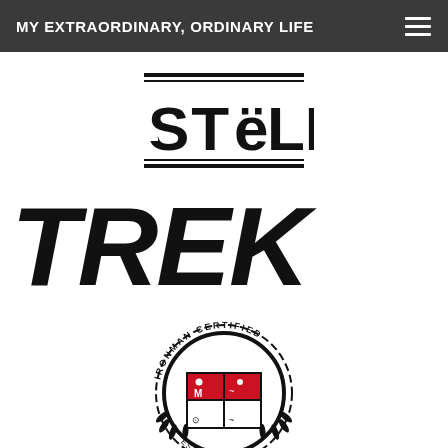MY EXTRAORDINARY, ORDINARY LIFE
[Figure (logo): STeLF logo — stylized block/stencil letters spelling STeLF with two horizontal lines above and below, in black on white]
[Figure (logo): TREK bicycle brand logo in large bold italic black letters on white background]
[Figure (logo): Ironman Certified badge/seal — circular seal with laurel wreath, text IRONMAN CERTIFIED and EST. 2015, a four-quadrant crest with red squares showing triathlon icons (swimmer, cyclist, runner, M-dot)]